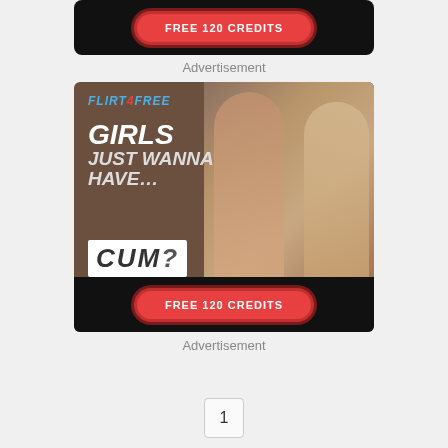[Figure (other): Adult advertisement banner: black background with red pill-shaped button labeled FREE 120 CREDITS]
Advertisement
[Figure (other): Flirt4Free adult advertisement: brown/taupe background with two female models, logo FLIRT 4 FREE, text GIRLS JUST WANNA HAVE... CUM?, red FREE 120 CREDITS button at bottom]
Advertisement
1